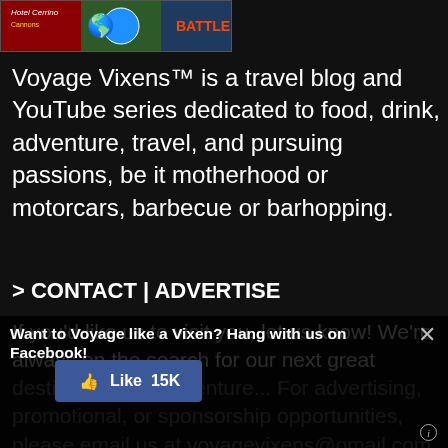[Figure (photo): Colorful travel/festival label image partially visible at top, showing 'Hotel Cerrino', globe graphic, and other colorful label designs]
Voyage Vixens™ is a travel blog and YouTube series dedicated to food, drink, adventure, travel, and pursuing passions, be it motherhood or motorcars, barbecue or barhopping.
> CONTACT | ADVERTISE
If you'd like us to visit you, let us know! We're always on the search for our next great destination and adventure... For advertising, promotional, or sponsorship opportunities, please email us at voyagevixens@gmail.com.
Want to Voyage like a Vixen? Hang with us on Facebook!
Like 15K